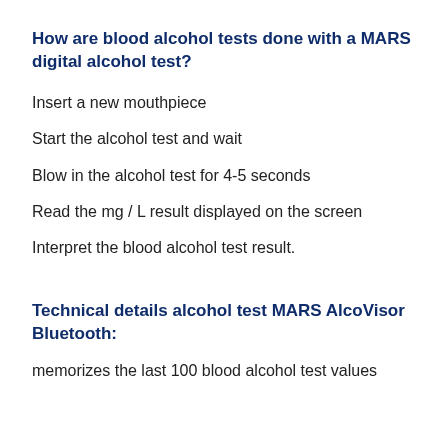How are blood alcohol tests done with a MARS digital alcohol test?
Insert a new mouthpiece
Start the alcohol test and wait
Blow in the alcohol test for 4-5 seconds
Read the mg / L result displayed on the screen
Interpret the blood alcohol test result.
Technical details alcohol test MARS AlcoVisor Bluetooth:
memorizes the last 100 blood alcohol test values